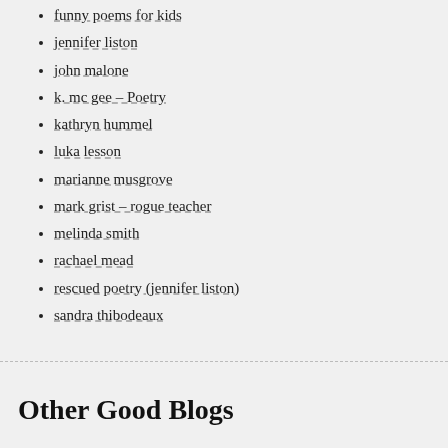funny poems for kids
jennifer liston
john malone
k. mc gee – Poetry
kathryn hummel
luka lesson
marianne musgrove
mark grist – rogue teacher
melinda smith
rachael mead
rescued poetry (jennifer liston)
sandra thibodeaux
Other Good Blogs
mag merrilees
pay the writers
Sharon Kernot